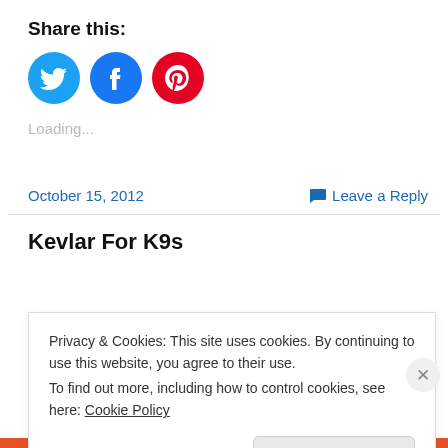Share this:
[Figure (illustration): Three social media share buttons: Twitter (blue circle with bird icon), Facebook (blue circle with f icon), Pinterest (red circle with P icon)]
Loading...
October 15, 2012
Leave a Reply
Kevlar For K9s
Privacy & Cookies: This site uses cookies. By continuing to use this website, you agree to their use.
To find out more, including how to control cookies, see here: Cookie Policy